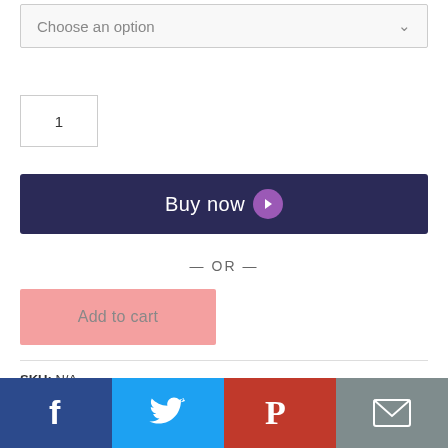Choose an option
1
Buy now
— OR —
Add to cart
SKU: N/A
Categories: Art Deco Wallpapers, Geometric Wallpapers
[Figure (screenshot): Social share bar with Facebook, Twitter, Pinterest, and Email buttons]